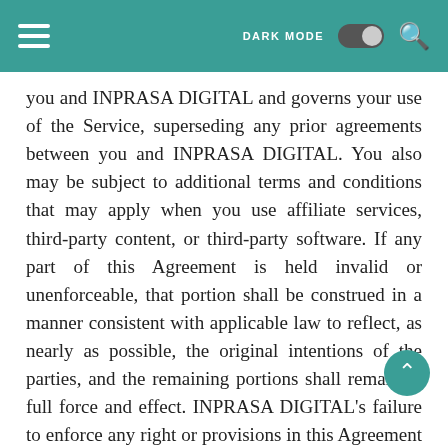DARK MODE [toggle] [search]
you and INPRASA DIGITAL and governs your use of the Service, superseding any prior agreements between you and INPRASA DIGITAL. You also may be subject to additional terms and conditions that may apply when you use affiliate services, third-party content, or third-party software. If any part of this Agreement is held invalid or unenforceable, that portion shall be construed in a manner consistent with applicable law to reflect, as nearly as possible, the original intentions of the parties, and the remaining portions shall remain in full force and effect. INPRASA DIGITAL's failure to enforce any right or provisions in this Agreement will not constitute a waiver of such or any other provision. INPRASA DIGITAL will not be responsible for failures to fulfill any obligations due to causes beyond its control.
The Service is operated by INPRASA DIGITAL for it...